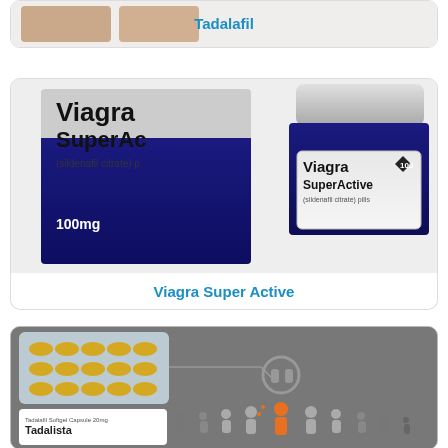[Figure (photo): Tadalafil product image (partially visible at top)]
Tadalafil
[Figure (photo): Viagra SuperActive 100mg sildenafil citrate pills packaging — box and jar]
Viagra Super Active
[Figure (photo): Tadalista 20mg softgel capsules blister pack with infographic showing person with headphones surrounded by crowd]